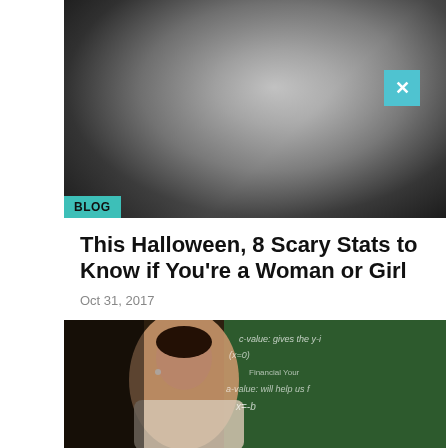[Figure (photo): Black and white photo of a person holding up their hand as if to stop or block, dark background]
BLOG
This Halloween, 8 Scary Stats to Know if You're a Woman or Girl
Oct 31, 2017
[Figure (photo): Photo of a woman teacher in front of a chalkboard with math equations written on it]